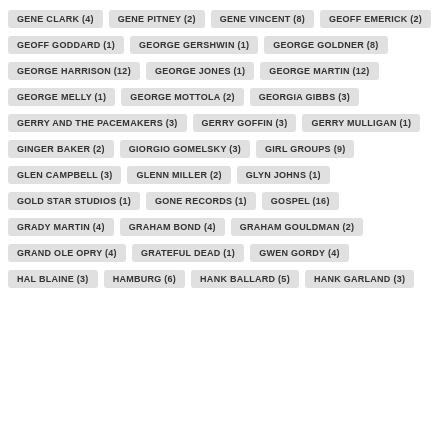GENE CLARK (4)
GENE PITNEY (2)
GENE VINCENT (8)
GEOFF EMERICK (2)
GEOFF GODDARD (1)
GEORGE GERSHWIN (1)
GEORGE GOLDNER (8)
GEORGE HARRISON (12)
GEORGE JONES (1)
GEORGE MARTIN (12)
GEORGE MELLY (1)
GEORGE MOTTOLA (2)
GEORGIA GIBBS (3)
GERRY AND THE PACEMAKERS (3)
GERRY GOFFIN (3)
GERRY MULLIGAN (1)
GINGER BAKER (2)
GIORGIO GOMELSKY (3)
GIRL GROUPS (9)
GLEN CAMPBELL (3)
GLENN MILLER (2)
GLYN JOHNS (1)
GOLD STAR STUDIOS (1)
GONE RECORDS (1)
GOSPEL (16)
GRADY MARTIN (4)
GRAHAM BOND (4)
GRAHAM GOULDMAN (2)
GRAND OLE OPRY (4)
GRATEFUL DEAD (1)
GWEN GORDY (4)
HAL BLAINE (3)
HAMBURG (6)
HANK BALLARD (5)
HANK GARLAND (3)